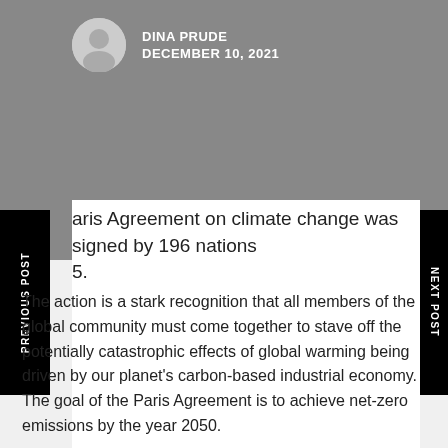DINA PRUDE
DECEMBER 10, 2021
aris Agreement on climate change was signed by 196 nations
5.
The action is a stark recognition that all members of the global community must come together to stave off the potentially catastrophic effects of global warming being driven by our planet's carbon-based industrial economy. The goal of the Paris Agreement is to achieve net-zero emissions by the year 2050.